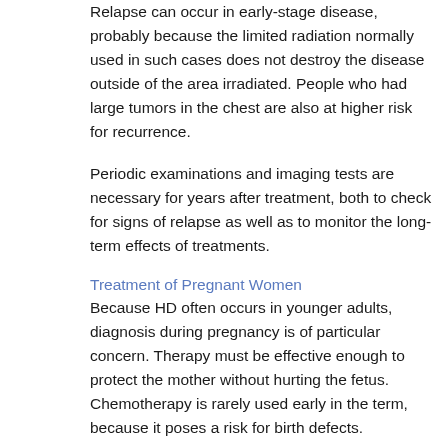Relapse can occur in early-stage disease, probably because the limited radiation normally used in such cases does not destroy the disease outside of the area irradiated. People who had large tumors in the chest are also at higher risk for recurrence.
Periodic examinations and imaging tests are necessary for years after treatment, both to check for signs of relapse as well as to monitor the long-term effects of treatments.
Treatment of Pregnant Women
Because HD often occurs in younger adults, diagnosis during pregnancy is of particular concern. Therapy must be effective enough to protect the mother without hurting the fetus. Chemotherapy is rarely used early in the term, because it poses a risk for birth defects.
Treatment choice must be individualized, taking into consideration the mother's wishes, the severity and pace of the disease, and the gestational age of the pregnancy. The